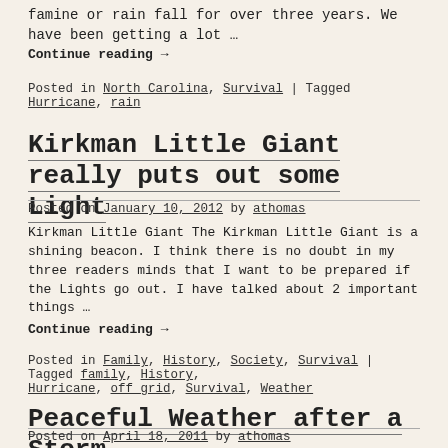famine or rain fall for over three years. We have been getting a lot …
Continue reading →
Posted in North Carolina, Survival | Tagged Hurricane, rain
Kirkman Little Giant really puts out some Light
Posted on January 10, 2012 by athomas
Kirkman Little Giant The Kirkman Little Giant is a shining beacon. I think there is no doubt in my three readers minds that I want to be prepared if the Lights go out. I have talked about 2 important things …
Continue reading →
Posted in Family, History, Society, Survival | Tagged family, History, Hurricane, off grid, Survival, Weather
Peaceful Weather after a Storm
Posted on April 18, 2011 by athomas
Prayers go out to all those that were